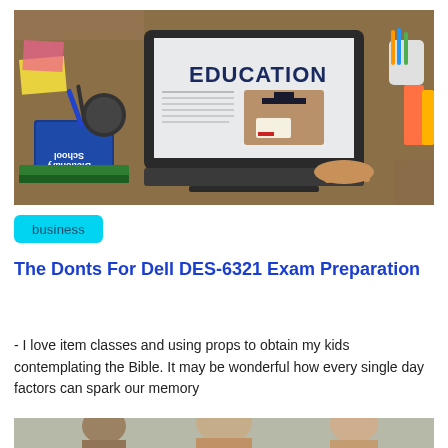[Figure (photo): Laptop displaying 'EDUCATION' on screen, surrounded by school books, stationery, and a person typing, on a desk]
business
The Donts For Dell DES-6321 Exam Preparation
- I love item classes and using props to obtain my kids contemplating the Bible. It may be wonderful how every single day factors can spark our memory
[Figure (photo): Partial photo of people in a classroom or educational setting]